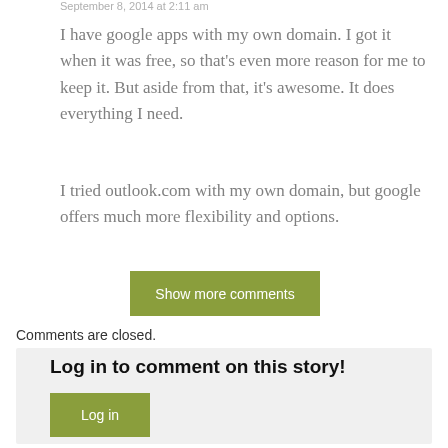September 8, 2014 at 2:11 am
I have google apps with my own domain. I got it when it was free, so that's even more reason for me to keep it. But aside from that, it's awesome. It does everything I need.
I tried outlook.com with my own domain, but google offers much more flexibility and options.
Show more comments
Comments are closed.
Log in to comment on this story!
Log in